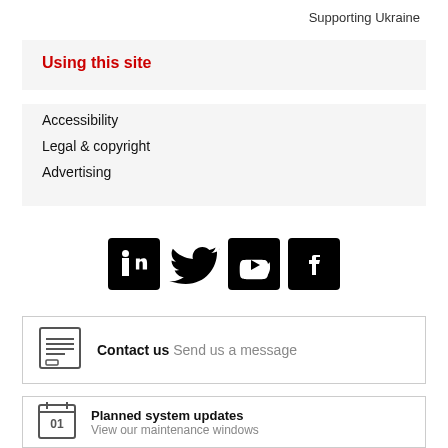Supporting Ukraine
Using this site
Accessibility
Legal & copyright
Advertising
[Figure (logo): Social media icons: LinkedIn, Twitter, YouTube, Facebook]
Contact us Send us a message
Planned system updates View our maintenance windows